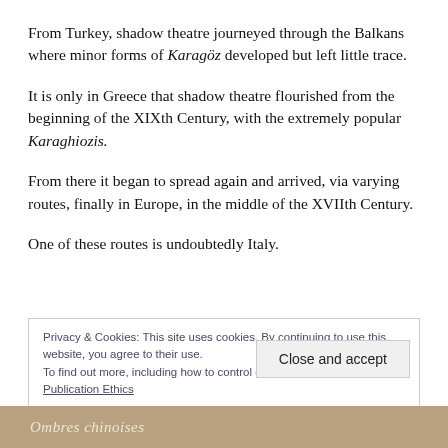From Turkey, shadow theatre journeyed through the Balkans where minor forms of Karagöz developed but left little trace.
It is only in Greece that shadow theatre flourished from the beginning of the XIXth Century, with the extremely popular Karaghiozis.
From there it began to spread again and arrived, via varying routes, finally in Europe, in the middle of the XVIIth Century.
One of these routes is undoubtedly Italy.
Privacy & Cookies: This site uses cookies. By continuing to use this website, you agree to their use.
To find out more, including how to control cookies, see here: Publication Ethics
Close and accept
[Figure (photo): Bottom strip showing partial text 'Ombres chinoises' in italic on a brown/sepia background image]